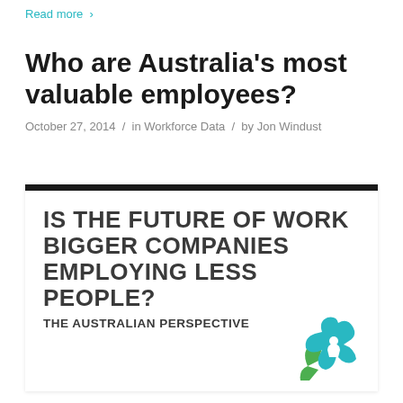Read more >
Who are Australia’s most valuable employees?
October 27, 2014 / in Workforce Data / by Jon Windust
[Figure (infographic): Card with bold heading: IS THE FUTURE OF WORK BIGGER COMPANIES EMPLOYING LESS PEOPLE? THE AUSTRALIAN PERSPECTIVE, with a logo in the bottom right corner showing a green windmill-like shape, a blue star and a white person figure.]